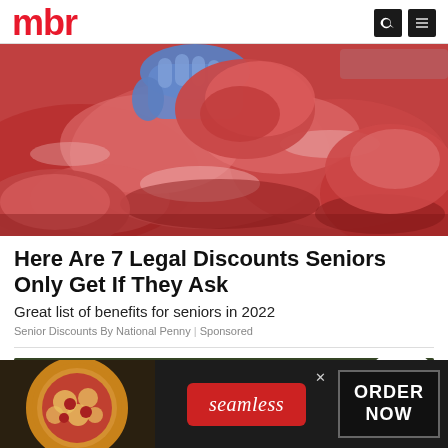mbr
[Figure (photo): Butcher with blue glove handling raw meat cuts at a butcher shop display]
Here Are 7 Legal Discounts Seniors Only Get If They Ask
Great list of benefits for seniors in 2022
Senior Discounts By National Penny | Sponsored
[Figure (photo): Dark green background image partially visible with TEST badge on right]
[Figure (screenshot): Advertisement bar: pizza photo on left, Seamless red button in center, ORDER NOW button on right]